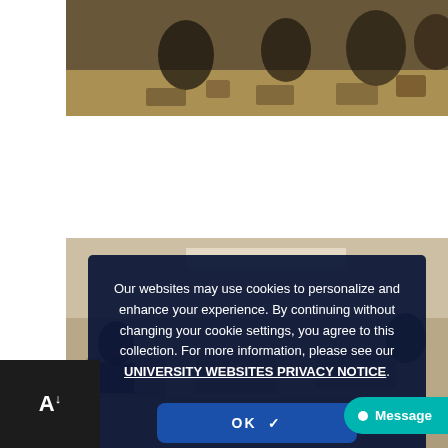[Figure (photo): Classroom photo top strip showing students seated at desks viewed from behind, warm wood floor visible]
[Figure (photo): Classroom photo bottom showing students at desks with a dark semi-transparent cookie consent overlay on top]
Our websites may use cookies to personalize and enhance your experience. By continuing without changing your cookie settings, you agree to this collection. For more information, please see our UNIVERSITY WEBSITES PRIVACY NOTICE.
OK ✓